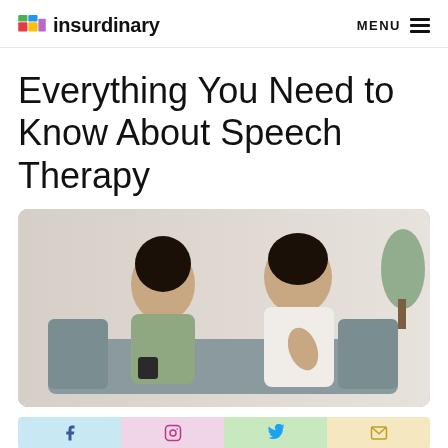insurdinary  MENU
Everything You Need to Know About Speech Therapy
[Figure (photo): Two women sitting on a gray sofa. One woman with braids in a sage green top leans forward looking down. The other woman with dark hair in a white button-up shirt holds her hand up in a conversational gesture. A plant is visible in the background.]
[Figure (infographic): Social media sharing strip showing icons for Facebook, Instagram, Twitter/X, and Email on pastel colored backgrounds.]